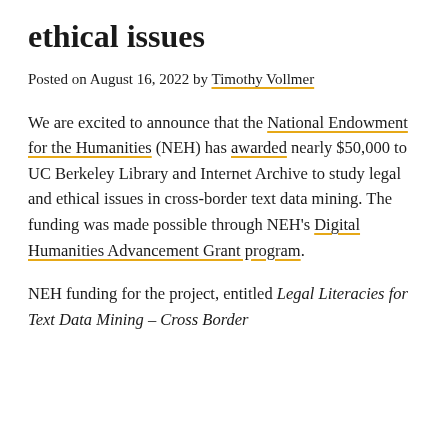ethical issues
Posted on August 16, 2022 by Timothy Vollmer
We are excited to announce that the National Endowment for the Humanities (NEH) has awarded nearly $50,000 to UC Berkeley Library and Internet Archive to study legal and ethical issues in cross-border text data mining. The funding was made possible through NEH's Digital Humanities Advancement Grant program.
NEH funding for the project, entitled Legal Literacies for Text Data Mining – Cross Border